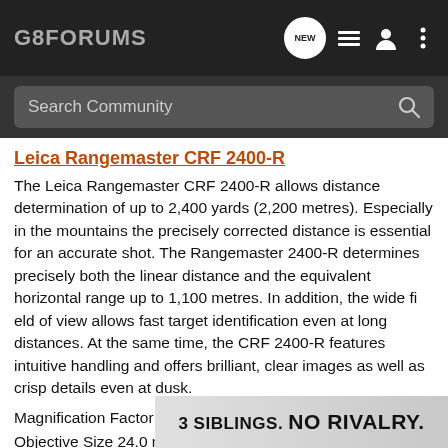G8FORUMS
Search Community
Leica Rangemaster CRF 2400-R
The Leica Rangemaster CRF 2400-R allows distance determination of up to 2,400 yards (2,200 metres). Especially in the mountains the precisely corrected distance is essential for an accurate shot. The Rangemaster 2400-R determines precisely both the linear distance and the equivalent horizontal range up to 1,100 metres. In addition, the wide fi eld of view allows fast target identification even at long distances. At the same time, the CRF 2400-R features intuitive handling and offers brilliant, clear images as well as crisp details even at dusk.
Magnification Factor 7x
Objective Size 24.0 mm
Exit Pup
Eye Rel
[Figure (other): Advertisement banner reading '3 SIBLINGS. NO RIVALRY.']